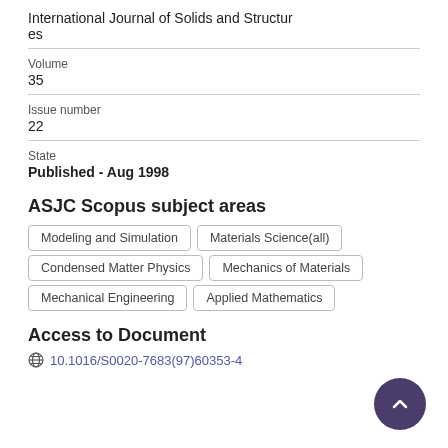International Journal of Solids and Structures
Volume
35
Issue number
22
State
Published - Aug 1998
ASJC Scopus subject areas
Modeling and Simulation
Materials Science(all)
Condensed Matter Physics
Mechanics of Materials
Mechanical Engineering
Applied Mathematics
Access to Document
10.1016/S0020-7683(97)60353-4